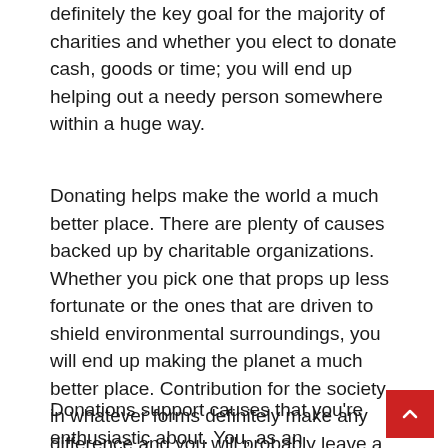definitely the key goal for the majority of charities and whether you elect to donate cash, goods or time; you will end up helping out a needy person somewhere within a huge way.
Donating helps make the world a much better place. There are plenty of causes backed up by charitable organizations. Whether you pick one that props up less fortunate or the ones that are driven to shield environmental surroundings, you will end up making the planet a much better place. Contribution for the society in whatever forms definitely make any difference and you will probably leave a legacy behind when you are caring enough to create a change where it really is needed most.
Donations support causes that you're enthusiastic about. You, as an illustration, could